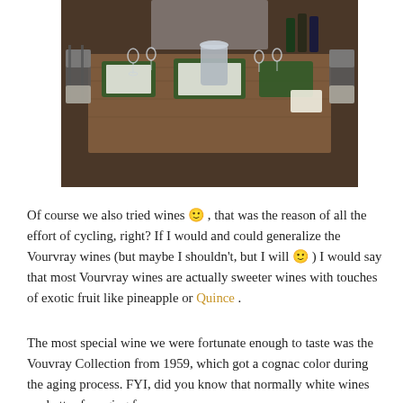[Figure (photo): Indoor dining table set for a meal with iron chairs, wine glasses, place settings, and bottles in the background.]
Of course we also tried wines 🙂 , that was the reason of all the effort of cycling, right? If I would and could generalize the Vourvray wines (but maybe I shouldn't, but I will 🙂 ) I would say that most Vourvray wines are actually sweeter wines with touches of exotic fruit like pineapple or Quince .
The most special wine we were fortunate enough to taste was the Vouvray Collection from 1959, which got a cognac color during the aging process. FYI, did you know that normally white wines are better for aging for years but red wines for aging?